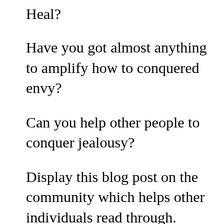Heal?
Have you got almost anything to amplify how to conquered envy?
Can you help other people to conquer jealousy?
Display this blog post on the community which helps other individuals read through.
Feel free to email or display the opinions